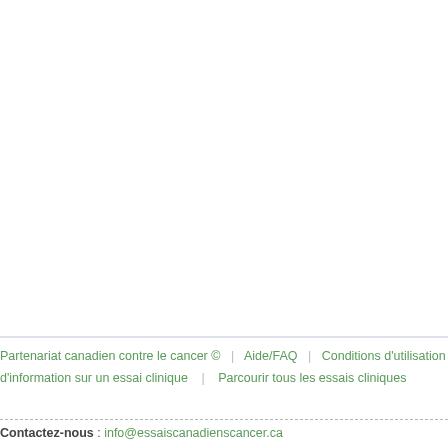without bevacizumab continuous oral adm FOLFIRI with and wi
Voir cet essai sur Cli
Intéres
Imprimez c discuter de traitement. pour un es
Partenariat canadien contre le cancer © | Aide/FAQ | Conditions d'utilisation | Politique d'information sur un essai clinique | Parcourir tous les essais cliniques
Contactez-nous : info@essaiscanadienscancer.ca